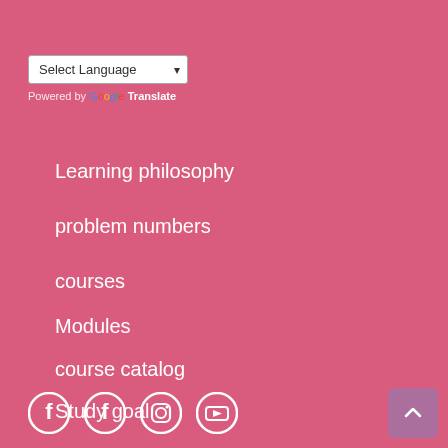Select Language (dropdown)
Powered by Google Translate
Learning philosophy
problem numbers
courses
Modules
course catalog
Study goal
[Figure (other): Social media icons: Facebook, Facebook, Instagram, YouTube]
[Figure (other): Scroll to top button with upward arrow]